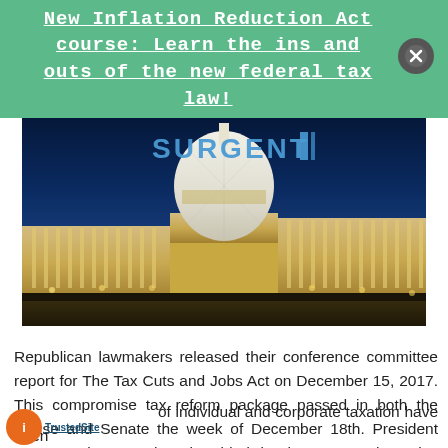New Inflation Reduction Act course: Learn the ins and outs of the new federal tax law!
[Figure (photo): Nighttime photo of the United States Capitol building illuminated against a dark blue sky, with the SURGENT logo overlaid at the top center]
Republican lawmakers released their conference committee report for The Tax Cuts and Jobs Act on December 15, 2017. This compromise tax reform package passed in both the House and Senate the week of December 18th. President Trump's signature has heralded in the most substantive changes to the tax code in over 30 years. The basic [structure] of individual and corporate taxation have been